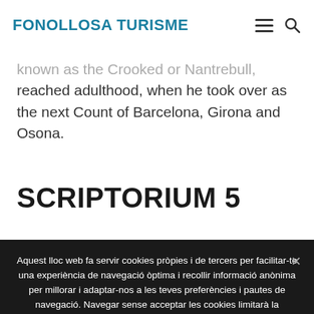FONOLLOSA TURISME
known as the Crooked or Nantrebull, reached adulthood, when he took over as the next Count of Barcelona, Girona and Osona.
SCRIPTORIUM 5
Aquest lloc web fa servir cookies pròpies i de tercers per facilitar-te una experiència de navegació òptima i recollir informació anònima per millorar i adaptar-nos a les teves preferències i pautes de navegació. Navegar sense acceptar les cookies limitarà la visibilitat i funcions del web. Per a més informació consulteu
D'acord | més informació